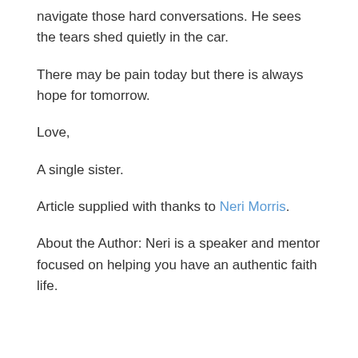navigate those hard conversations. He sees the tears shed quietly in the car.
There may be pain today but there is always hope for tomorrow.
Love,
A single sister.
Article supplied with thanks to Neri Morris.
About the Author: Neri is a speaker and mentor focused on helping you have an authentic faith life.